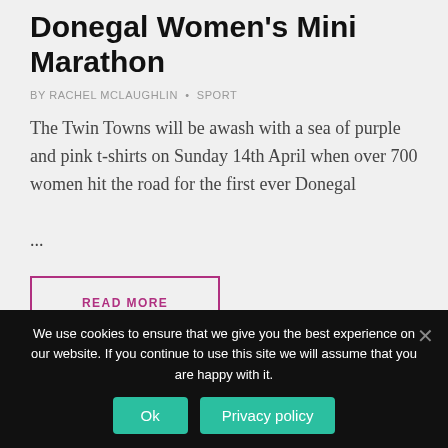Donegal Women's Mini Marathon
BY RACHEL MCLAUGHLIN · SPORT
The Twin Towns will be awash with a sea of purple and pink t-shirts on Sunday 14th April when over 700 women hit the road for the first ever Donegal ...
READ MORE
We use cookies to ensure that we give you the best experience on our website. If you continue to use this site we will assume that you are happy with it.